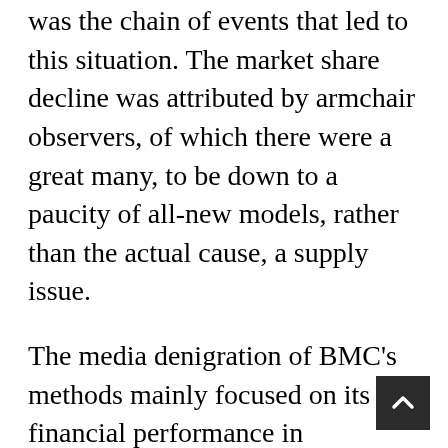was the chain of events that led to this situation. The market share decline was attributed by armchair observers, of which there were a great many, to be down to a paucity of all-new models, rather than the actual cause, a supply issue.
The media denigration of BMC's methods mainly focused on its financial performance in comparison with Ford of Britain and its tight cost control methods. This UK-centric criticism clearly seeped through to the Labour Government of Harold Wilson and his Technology